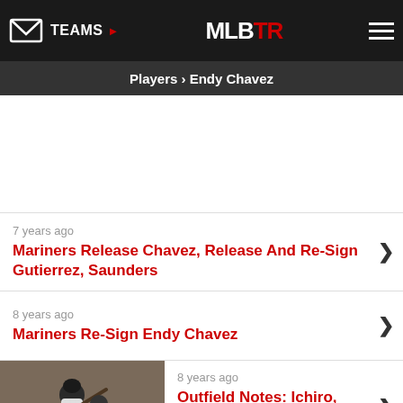TEAMS ▶  MLBTR
Players › Endy Chavez
7 years ago — Mariners Release Chavez, Release And Re-Sign Gutierrez, Saunders
8 years ago — Mariners Re-Sign Endy Chavez
8 years ago — Outfield Notes: Ichiro, Schierholtz, Chavez, Bautista
8 years ago
ADVERTISEMENT